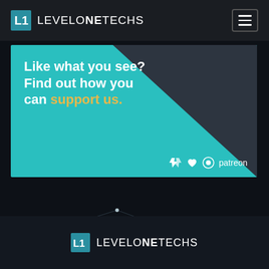LEVELONETECHS
[Figure (illustration): Promotional banner with teal and dark split background. White text reads 'Like what you see? Find out how you can support us.' with 'support us.' in yellow. Bottom right shows retweet, heart, and Patreon icons.]
[Figure (illustration): Dark background section with constellation dot network graphic]
LEVELONETECHS